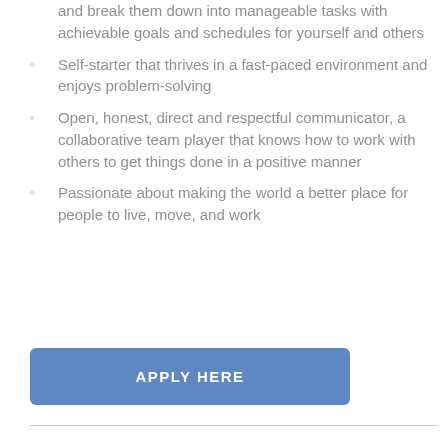and break them down into manageable tasks with achievable goals and schedules for yourself and others
Self-starter that thrives in a fast-paced environment and enjoys problem-solving
Open, honest, direct and respectful communicator, a collaborative team player that knows how to work with others to get things done in a positive manner
Passionate about making the world a better place for people to live, move, and work
APPLY HERE